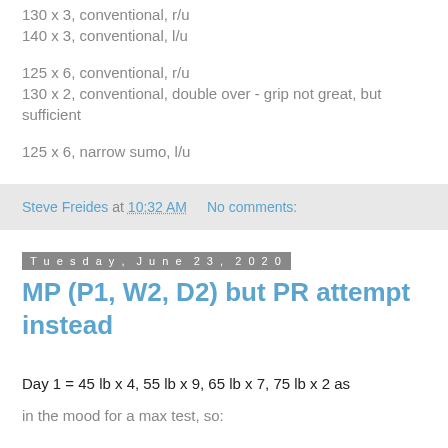130 x 3, conventional, r/u
140 x 3, conventional, l/u
125 x 6, conventional, r/u
130 x 2, conventional, double over - grip not great, but sufficient
125 x 6, narrow sumo, l/u
Steve Freides at 10:32 AM   No comments:
Tuesday, June 23, 2020
MP (P1, W2, D2) but PR attempt instead
Day 1 = 45 lb x 4, 55 lb x 9, 65 lb x 7, 75 lb x 2 as
in the mood for a max test, so: